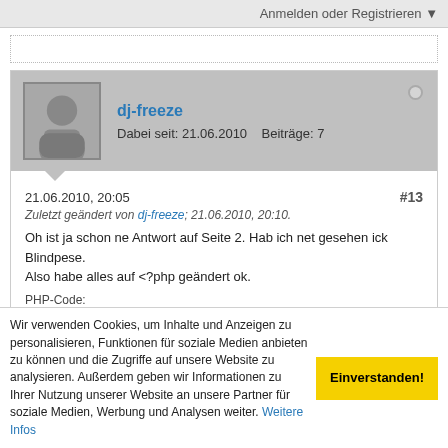Anmelden oder Registrieren ▼
dj-freeze
Dabei seit: 21.06.2010    Beiträge: 7
21.06.2010, 20:05    #13
Zuletzt geändert von dj-freeze; 21.06.2010, 20:10.
Oh ist ja schon ne Antwort auf Seite 2. Hab ich net gesehen ick Blindpese.
Also habe alles auf <?php geändert ok.
PHP-Code:
error_reporting (E_ALL);
Wir verwenden Cookies, um Inhalte und Anzeigen zu personalisieren, Funktionen für soziale Medien anbieten zu können und die Zugriffe auf unsere Website zu analysieren. Außerdem geben wir Informationen zu Ihrer Nutzung unserer Website an unsere Partner für soziale Medien, Werbung und Analysen weiter. Weitere Infos
Einverstanden!